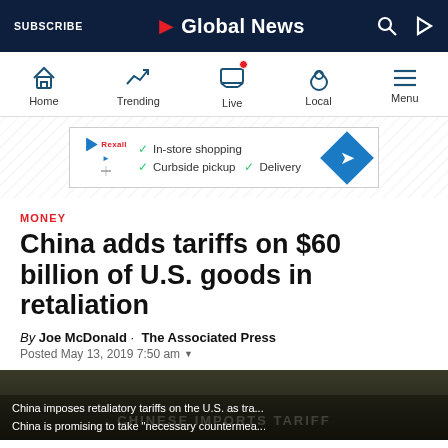SUBSCRIBE | Global News
Home | Trending | Live | Local | Menu
[Figure (screenshot): Advertisement banner: In-store shopping, Curbside pickup, Delivery]
MONEY
China adds tariffs on $60 billion of U.S. goods in retaliation
By Joe McDonald · The Associated Press
Posted May 13, 2019 7:50 am
[Figure (photo): News video thumbnail: China imposes retaliatory tariffs on the U.S. as tra... China is promising to take "necessary countermea... with watermark text: CHINESE IMPORTS TARIFF]